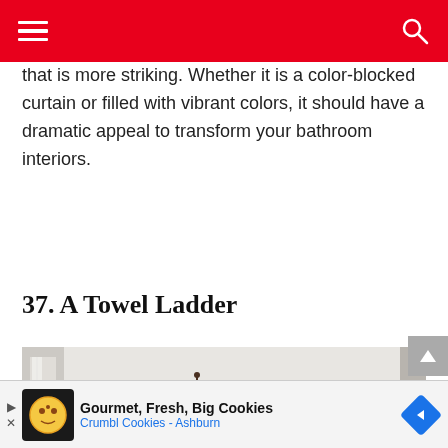[navigation header with hamburger menu and search icon]
that is more striking. Whether it is a color-blocked curtain or filled with vibrant colors, it should have a dramatic appeal to transform your bathroom interiors.
37. A Towel Ladder
[Figure (photo): A minimalist bathroom wall scene with a rustic wooden ladder leaning against the white wall on the right, a small framed artwork in the center, a decorative hanging above it, and a small potted plant with white vessel on a shelf in the lower left. Window with curtain on the far left.]
Gourmet, Fresh, Big Cookies Crumbl Cookies - Ashburn [advertisement]